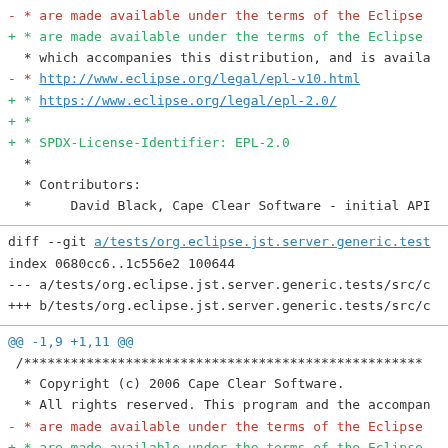- * are made available under the terms of the Eclipse
+ * are made available under the terms of the Eclipse
* which accompanies this distribution, and is availa
- * http://www.eclipse.org/legal/epl-v10.html
+ * https://www.eclipse.org/legal/epl-2.0/
+ *
+ * SPDX-License-Identifier: EPL-2.0
*
* Contributors:
*     David Black, Cape Clear Software - initial API
diff --git a/tests/org.eclipse.jst.server.generic.test
index 0680cc6..1c556e2 100644
--- a/tests/org.eclipse.jst.server.generic.tests/src/c
+++ b/tests/org.eclipse.jst.server.generic.tests/src/c
@@ -1,9 +1,11 @@
/***************************************************
* Copyright (c) 2006 Cape Clear Software.
* All rights reserved. This program and the accompan
- * are made available under the terms of the Eclipse
+ * are made available under the terms of the Eclipse